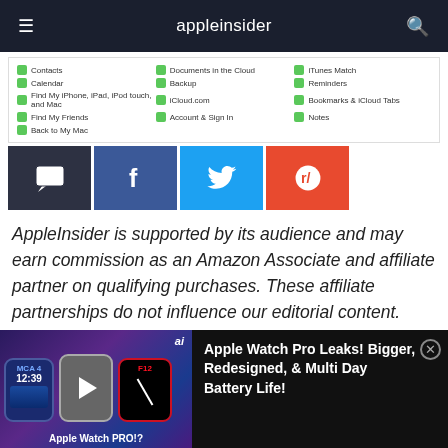appleinsider
[Figure (screenshot): iCloud settings panel showing toggles for Contacts, Calendar, Find My iPhone iPad iPod touch and Mac, Find My Friends, Back to My Mac, Documents in the Cloud, Backup, iCloud.com, Account & Sign In, iTunes Match, Reminders, Bookmarks & iCloud Tabs, Notes]
[Figure (screenshot): Social share buttons: comment (dark), Facebook (blue), Twitter (light blue), Reddit (orange-red)]
AppleInsider is supported by its audience and may earn commission as an Amazon Associate and affiliate partner on qualifying purchases. These affiliate partnerships do not influence our editorial content.
[Figure (screenshot): Video advertisement thumbnail for Apple Watch Pro with three Apple Watch models shown and title 'Apple Watch PRO!?' with overlay text 'Apple Watch Pro Leaks! Bigger, Redesigned, & Multi Day Battery Life!']